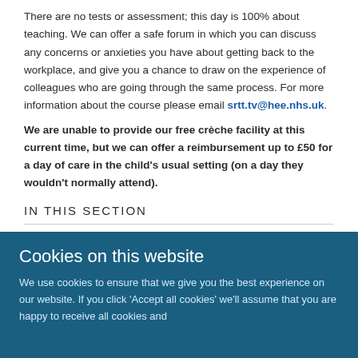There are no tests or assessment; this day is 100% about teaching. We can offer a safe forum in which you can discuss any concerns or anxieties you have about getting back to the workplace, and give you a chance to draw on the experience of colleagues who are going through the same process. For more information about the course please email srtt.tv@hee.nhs.uk.
We are unable to provide our free crèche facility at this current time, but we can offer a reimbursement up to £50 for a day of care in the child's usual setting (on a day they wouldn't normally attend).
IN THIS SECTION
Cookies on this website
We use cookies to ensure that we give you the best experience on our website. If you click 'Accept all cookies' we'll assume that you are happy to receive all cookies and